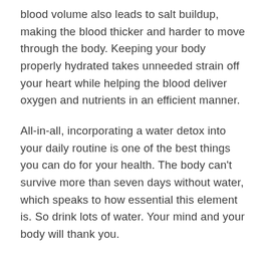blood volume also leads to salt buildup, making the blood thicker and harder to move through the body. Keeping your body properly hydrated takes unneeded strain off your heart while helping the blood deliver oxygen and nutrients in an efficient manner.
All-in-all, incorporating a water detox into your daily routine is one of the best things you can do for your health. The body can't survive more than seven days without water, which speaks to how essential this element is. So drink lots of water. Your mind and your body will thank you.
Author Bio